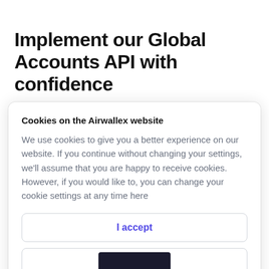Implement our Global Accounts API with confidence
Cookies on the Airwallex website
We use cookies to give you a better experience on our website. If you continue without changing your settings, we'll assume that you are happy to receive cookies. However, if you would like to, you can change your cookie settings at any time here
I accept
Find out more